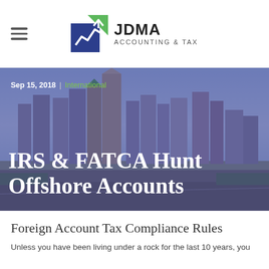JDMA ACCOUNTING & TAX
[Figure (photo): City skyline photo (Atlanta) with blue-purple semi-transparent overlay, date 'Sep 15, 2018 | International' and large white serif title text 'IRS & FATCA Hunt Offshore Accounts']
Foreign Account Tax Compliance Rules
Unless you have been living under a rock for the last 10 years, you